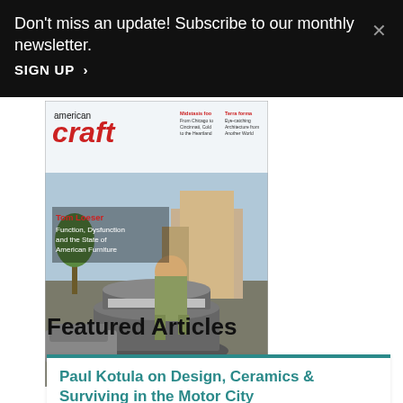Don't miss an update! Subscribe to our monthly newsletter.
SIGN UP >
[Figure (photo): Cover of American Craft magazine featuring Tom Loeser - a man sitting atop a large sculptural furniture piece (stacked circular forms) on a street. Text reads: american craft, Tom Loeser: Function, Dysfunction and the State of American Furniture, americancraftmag.org]
Featured Articles
Paul Kotula on Design, Ceramics & Surviving in the Motor City